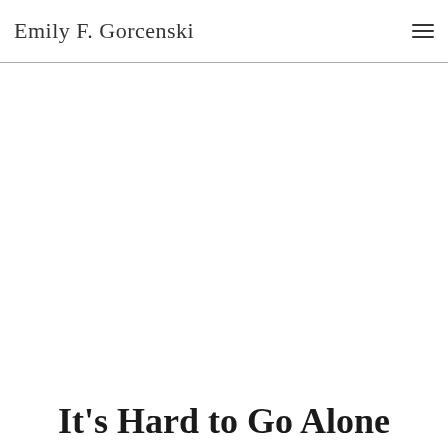Emily F. Gorcenski
It's Hard to Go Alone